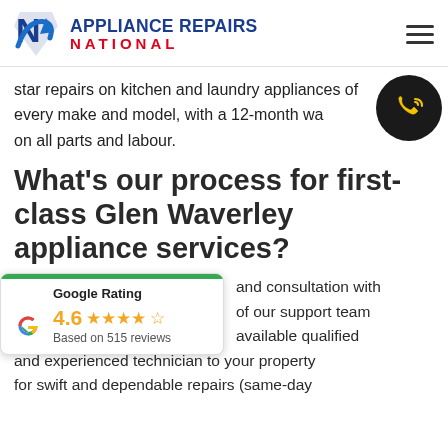APPLIANCE REPAIRS NATIONAL
star repairs on kitchen and laundry appliances of every make and model, with a 12-month warranty on all parts and labour.
What's our process for first-class Glen Waverley appliance services?
[Figure (infographic): Google Rating card showing 4.6 stars based on 515 reviews with Google G logo]
and consultation with of our support team available qualified and experienced technician to your property for swift and dependable repairs (same-day